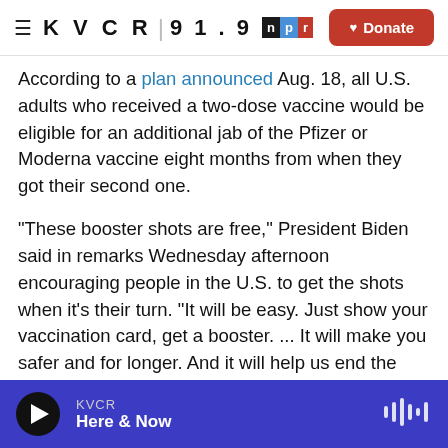≡  K V C R  |  9 1 . 9  [npr]  ♥ Donate
According to a plan announced Aug. 18, all U.S. adults who received a two-dose vaccine would be eligible for an additional jab of the Pfizer or Moderna vaccine eight months from when they got their second one.
"These booster shots are free," President Biden said in remarks Wednesday afternoon encouraging people in the U.S. to get the shots when it's their turn. "It will be easy. Just show your vaccination card, get a booster. ... It will make you safer and for longer. And it will help us end the pandemic faster."
KVCR  Here & Now